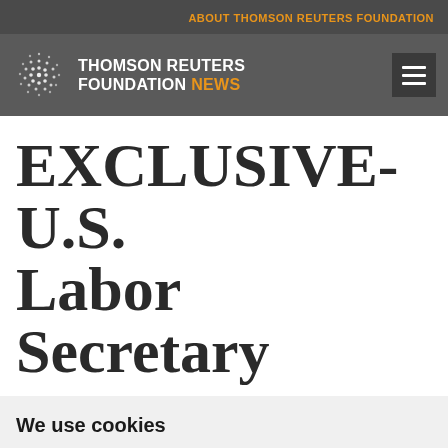ABOUT THOMSON REUTERS FOUNDATION
[Figure (logo): Thomson Reuters Foundation News logo with spiral dot circle icon and text 'THOMSON REUTERS FOUNDATION NEWS']
EXCLUSIVE-U.S. Labor Secretary
We use cookies
We use cookies and other tracking technologies to improve your browsing experience on our website, to show you personalized content and targeted ads, to analyze our website traffic, and to understand where our visitors are coming from.